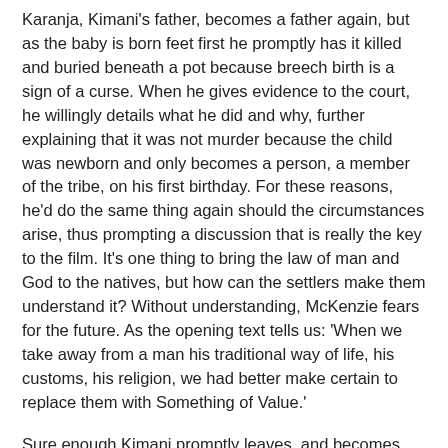Karanja, Kimani's father, becomes a father again, but as the baby is born feet first he promptly has it killed and buried beneath a pot because breech birth is a sign of a curse. When he gives evidence to the court, he willingly details what he did and why, further explaining that it was not murder because the child was newborn and only becomes a person, a member of the tribe, on his first birthday. For these reasons, he'd do the same thing again should the circumstances arise, thus prompting a discussion that is really the key to the film. It's one thing to bring the law of man and God to the natives, but how can the settlers make them understand it? Without understanding, McKenzie fears for the future. As the opening text tells us: 'When we take away from a man his traditional way of life, his customs, his religion, we had better make certain to replace them with Something of Value.'
Sure enough Kimani promptly leaves, and becomes caught up in a network of native resistance, people who want to throw out the foreigners and take back their own land. Kimani sees their ways as extreme but stays with them nonetheless, even as the years pass and he grows into a